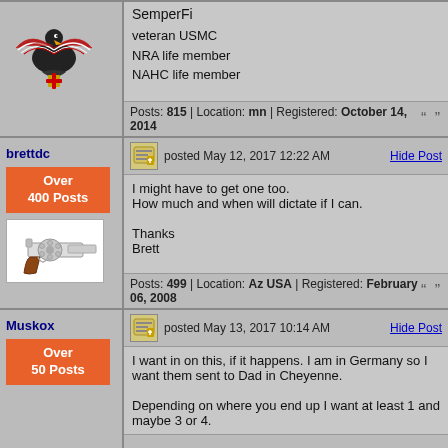SemperFi
veteran USMC
NRA life member
NAHC life member
Posts: 815 | Location: mn | Registered: October 14, 2014
brettdc
posted May 12, 2017 12:22 AM
Hide Post
Over 400 Posts
I might have to get one too.
How much and when will dictate if I can.

Thanks
Brett
Posts: 499 | Location: Az USA | Registered: February 06, 2008
Muskox
posted May 13, 2017 10:14 AM
Hide Post
Over 50 Posts
I want in on this, if it happens. I am in Germany so I want them sent to Dad in Cheyenne.

Depending on where you end up I want at least 1 and maybe 3 or 4.